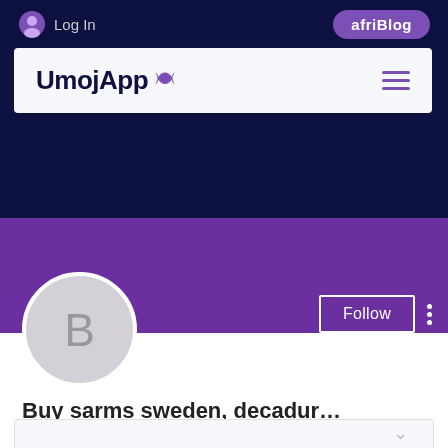Log In | afriBlog
UmojApp
[Figure (screenshot): Purple profile cover banner with Follow button and three-dot menu]
[Figure (illustration): Circular avatar with letter B on light gray background]
Buy sarms sweden, decadur…
0 Followers • 0 Following